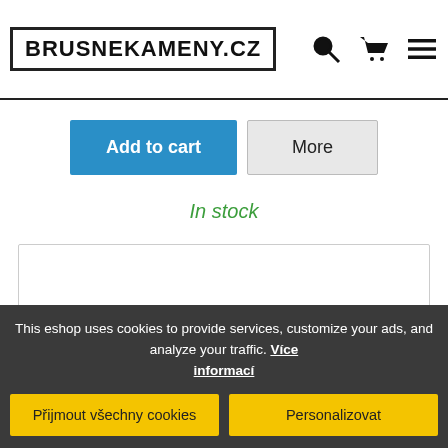BRUSNEKAMENY.CZ
Add to cart | More
In stock
[Figure (other): White content area / placeholder box]
This eshop uses cookies to provide services, customize your ads, and analyze your traffic. Více informací
Přijmout všechny cookies | Personalizovat